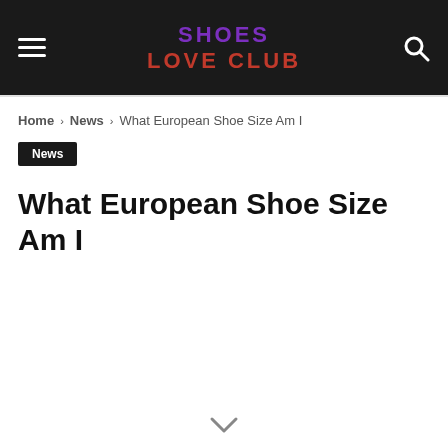SHOES LOVE CLUB
Home › News › What European Shoe Size Am I
News
What European Shoe Size Am I